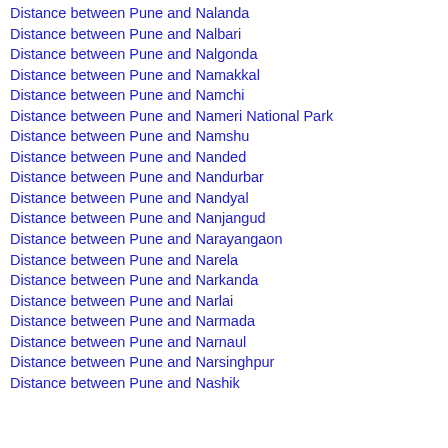Distance between Pune and Nalanda
Distance between Pune and Nalbari
Distance between Pune and Nalgonda
Distance between Pune and Namakkal
Distance between Pune and Namchi
Distance between Pune and Nameri National Park
Distance between Pune and Namshu
Distance between Pune and Nanded
Distance between Pune and Nandurbar
Distance between Pune and Nandyal
Distance between Pune and Nanjangud
Distance between Pune and Narayangaon
Distance between Pune and Narela
Distance between Pune and Narkanda
Distance between Pune and Narlai
Distance between Pune and Narmada
Distance between Pune and Narnaul
Distance between Pune and Narsinghpur
Distance between Pune and Nashik